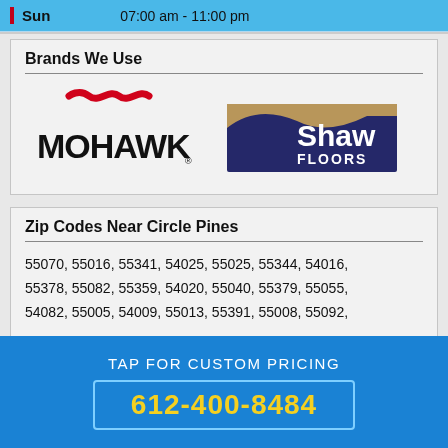| Day | Hours |
| --- | --- |
| Sun | 07:00 am - 11:00 pm |
Brands We Use
[Figure (logo): Mohawk flooring logo with red wave symbol above bold MOHAWK text]
[Figure (logo): Shaw Floors logo with dark blue background, tan/brown wave swoosh, and white Shaw Floors text]
Zip Codes Near Circle Pines
55070, 55016, 55341, 54025, 55025, 55344, 54016, 55378, 55082, 55359, 54020, 55040, 55379, 55055, 54082, 55005, 54009, 55013, 55391, 55008, 55092,
TAP FOR CUSTOM PRICING
612-400-8484